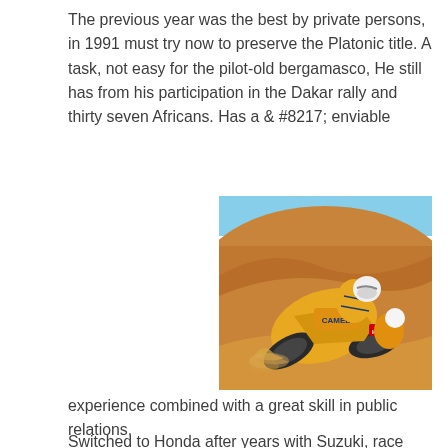The previous year was the best by private persons, in 1991 must try now to preserve the Platonic title. A task, not easy for the pilot-old bergamasco, He still has from his participation in the Dakar rally and thirty seven Africans. Has a & #8217; enviable
[Figure (photo): A rider on a yellow Camel-sponsored Honda motorcycle racing through sandy desert dunes, leaning into a turn. The bike is tilted at an angle with sand flying. The rider wears a yellow suit and white helmet.]
experience combined with a great skill in public relations.
Switched to Honda after years with Suzuki, race